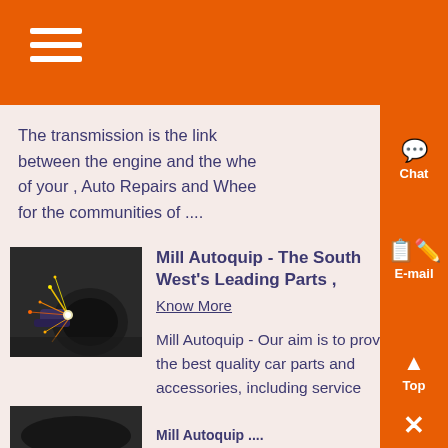The transmission is the link between the engine and the wheels of your , Auto Repairs and Wheels for the communities of ....
[Figure (photo): Close-up photo of a mechanic working under a car with grinding sparks flying]
Mill Autoquip - The South West's Leading Parts ,
Know More
Mill Autoquip - Our aim is to provide the best quality car parts and accessories, including service kits, brakes and engine parts at affordable and competitive pric...
[Figure (photo): Partial view of a vehicle at the bottom of the page]